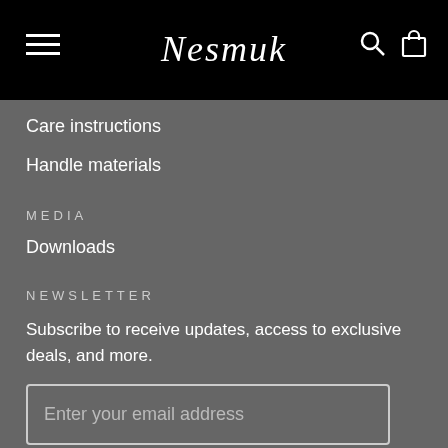Nesmuk
Care instructions
Handle materials
MEDIA
Downloads
NEWSLETTER
Subscribe to receive updates, access to exclusive deals, and more.
Enter your email address